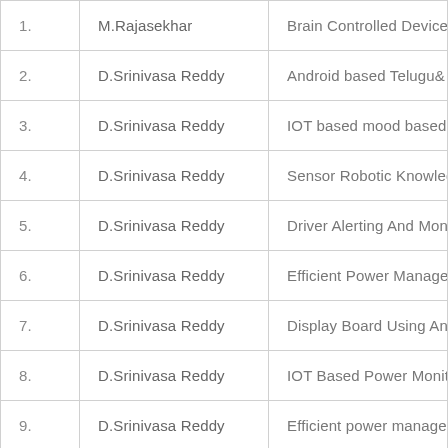| # | Name | Title |
| --- | --- | --- |
| 1. | M.Rajasekhar | Brain Controlled Devices |
| 2. | D.Srinivasa Reddy | Android based Telugu& Hindi |
| 3. | D.Srinivasa Reddy | IOT based mood based light |
| 4. | D.Srinivasa Reddy | Sensor Robotic Knowledge R |
| 5. | D.Srinivasa Reddy | Driver Alerting And Monitorin |
| 6. | D.Srinivasa Reddy | Efficient Power Managemen |
| 7. | D.Srinivasa Reddy | Display Board Using Android |
| 8. | D.Srinivasa Reddy | IOT Based Power Monitoring |
| 9. | D.Srinivasa Reddy | Efficient power managemen |